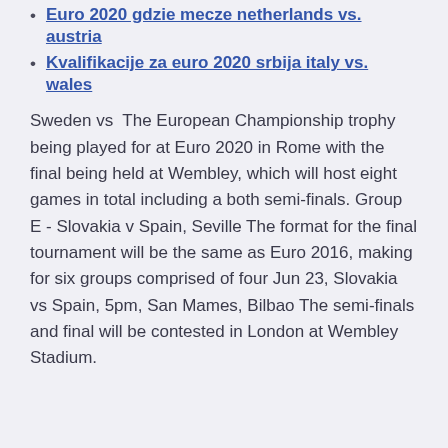Euro 2020 gdzie mecze netherlands vs. austria
Kvalifikacije za euro 2020 srbija italy vs. wales
Sweden vs  The European Championship trophy being played for at Euro 2020 in Rome with the final being held at Wembley, which will host eight games in total including a both semi-finals. Group E - Slovakia v Spain, Seville The format for the final tournament will be the same as Euro 2016, making for six groups comprised of four Jun 23, Slovakia vs Spain, 5pm, San Mames, Bilbao The semi-finals and final will be contested in London at Wembley Stadium.